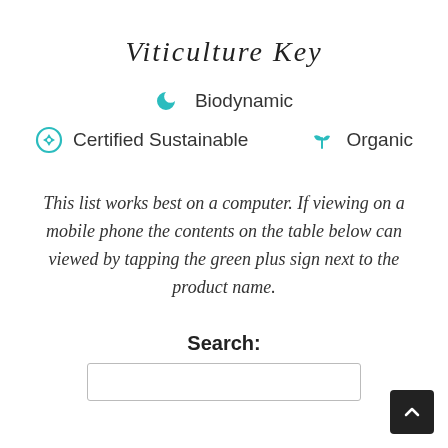Viticulture Key
[Figure (infographic): Viticulture key icons: crescent moon icon labeled Biodynamic; recycling/leaf icon labeled Certified Sustainable; plant sprout icon labeled Organic]
This list works best on a computer. If viewing on a mobile phone the contents on the table below can viewed by tapping the green plus sign next to the product name.
Search: